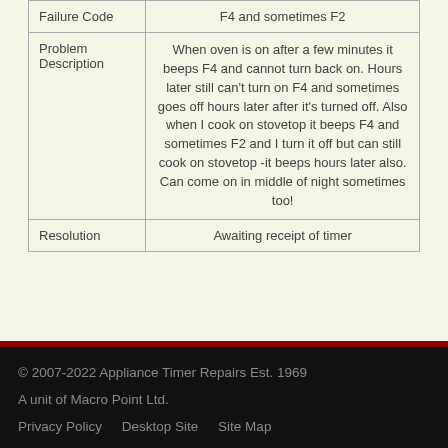|  |  |
| --- | --- |
| Failure Code | F4 and sometimes F2 |
| Problem Description | When oven is on after a few minutes it beeps F4 and cannot turn back on. Hours later still can't turn on F4 and sometimes goes off hours later after it's turned off. Also when I cook on stovetop it beeps F4 and sometimes F2 and I turn it off but can still cook on stovetop -it beeps hours later also. Can come on in middle of night sometimes too! |
| Resolution | Awaiting receipt of timer |
© 2007-2022 Appliance Timer Repairs Est. 1969
A unit of Macro Point Ltd.
Privacy Policy   Desktop Site   Site Map